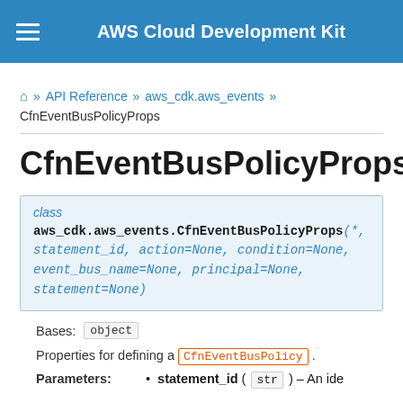AWS Cloud Development Kit
Home » API Reference » aws_cdk.aws_events » CfnEventBusPolicyProps
CfnEventBusPolicyProps
class aws_cdk.aws_events.CfnEventBusPolicyProps(*, statement_id, action=None, condition=None, event_bus_name=None, principal=None, statement=None)
Bases: object
Properties for defining a CfnEventBusPolicy .
Parameters: • statement_id ( str ) – An ide